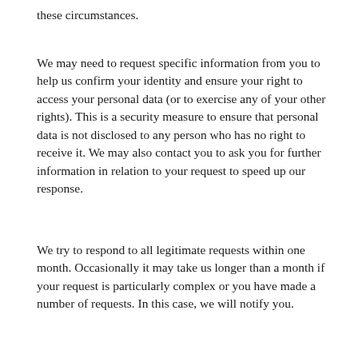these circumstances.
We may need to request specific information from you to help us confirm your identity and ensure your right to access your personal data (or to exercise any of your other rights). This is a security measure to ensure that personal data is not disclosed to any person who has no right to receive it. We may also contact you to ask you for further information in relation to your request to speed up our response.
We try to respond to all legitimate requests within one month. Occasionally it may take us longer than a month if your request is particularly complex or you have made a number of requests. In this case, we will notify you.